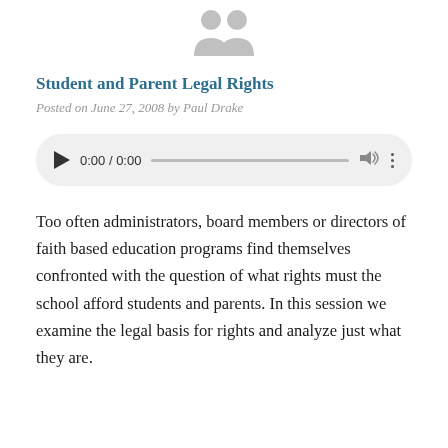[Figure (illustration): Greyed silhouette avatar icon of a person, centered at top of page]
Student and Parent Legal Rights
Posted on June 27, 2008 by Paul Drake
[Figure (other): Audio player widget showing 0:00 / 0:00 with play button, progress bar, volume and more icons]
Too often administrators, board members or directors of faith based education programs find themselves confronted with the question of what rights must the school afford students and parents. In this session we examine the legal basis for rights and analyze just what they are.